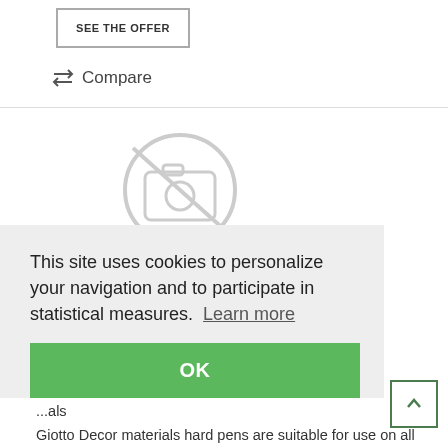SEE THE OFFER
Compare
[Figure (other): No image available placeholder icon (camera with slash through it)]
This site uses cookies to personalize your navigation and to participate in statistical measures.  Learn more
OK
...als
Giotto Decor materials hard pens are suitable for use on all